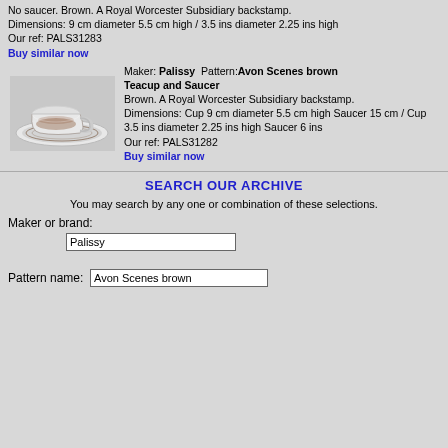No saucer. Brown. A Royal Worcester Subsidiary backstamp. Dimensions: 9 cm diameter 5.5 cm high / 3.5 ins diameter 2.25 ins high Our ref: PALS31283 Buy similar now
[Figure (photo): Photo of a brown Palissy Avon Scenes teacup and saucer with decorative brown transfer print pattern]
Maker: Palissy Pattern: Avon Scenes brown Teacup and Saucer Brown. A Royal Worcester Subsidiary backstamp. Dimensions: Cup 9 cm diameter 5.5 cm high Saucer 15 cm / Cup 3.5 ins diameter 2.25 ins high Saucer 6 ins Our ref: PALS31282 Buy similar now
SEARCH OUR ARCHIVE
You may search by any one or combination of these selections.
Maker or brand:
Palissy
Pattern name:
Avon Scenes brown